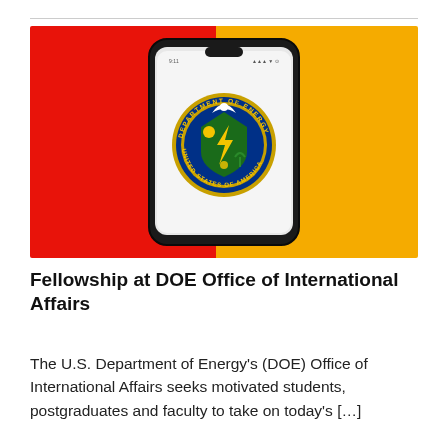[Figure (photo): A smartphone displaying the U.S. Department of Energy seal/logo on its screen, placed against a split red and yellow background.]
Fellowship at DOE Office of International Affairs
The U.S. Department of Energy's (DOE) Office of International Affairs seeks motivated students, postgraduates and faculty to take on today's […]